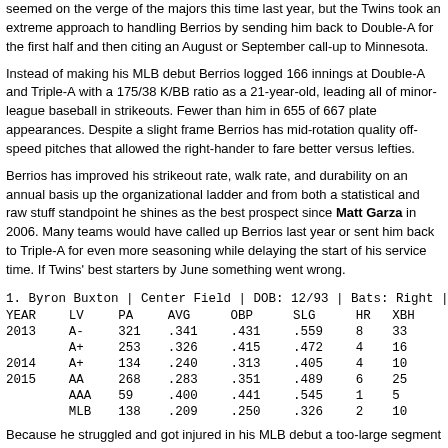seemed on the verge of the majors this time last year, but the Twins took an extreme approach to handling Berrios by sending him back to Double-A for the first half and then citing an August or September call-up to Minnesota.
Instead of making his MLB debut Berrios logged 166 innings at Double-A and Triple-A with a 175/38 K/BB ratio as a 21-year-old, leading all of minor-league baseball in strikeouts. Fewer than him in 655 of 667 plate appearances. Despite a slight frame Berrios has mid-rotation quality off-speed pitches that allowed the right-hander to fare better versus lefties.
Berrios has improved his strikeout rate, walk rate, and durability on an annual basis up the organizational ladder and from both a statistical and raw stuff standpoint he shines as the best prospect since Matt Garza in 2006. Many teams would have called up Berrios last year or sent him back to Triple-A for even more seasoning while delaying the start of his service time. If Twins' best starters by June something went wrong.
1. Byron Buxton | Center Field | DOB: 12/93 | Bats: Right |
| YEAR | LV | PA | AVG | OBP | SLG | HR | XBH |
| --- | --- | --- | --- | --- | --- | --- | --- |
| 2013 | A- | 321 | .341 | .431 | .559 | 8 | 33 |
|  | A+ | 253 | .326 | .415 | .472 | 4 | 16 |
| 2014 | A+ | 134 | .240 | .313 | .405 | 4 | 10 |
| 2015 | AA | 268 | .283 | .351 | .489 | 6 | 25 |
|  | AAA | 59 | .400 | .441 | .545 | 1 | 5 |
|  | MLB | 138 | .209 | .250 | .326 | 2 | 10 |
Because he struggled and got injured in his MLB debut a too-large segment of Twins fans gave up on Buxton, but soon enough he'll make those same people impossible to find. There's no question he had a rough first taste of the majors and has had trouble staying healthy, making him a somewhat risky pick. However, hitting .305/.367/.500 at Double-A and Triple-A as a 21-year-old center fielder last season also solidified his status as a great prospect.
Buxton's inability to control the strike zone led to an ugly 44/6 K/BB ratio with the Twins, but that wasn't awful so much as misguided. He actually showed decent patience, but too...